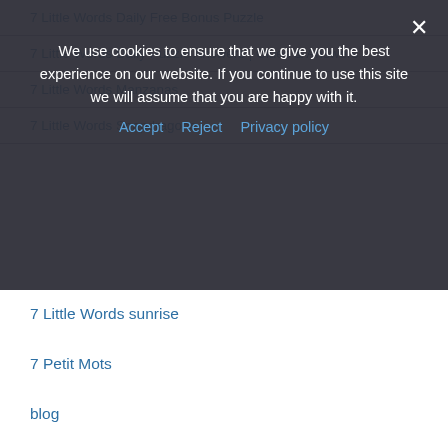7 Little Words Daily Free Bonus Puzzle
7 Little Words Daily Puzzle Answers | Clues & Answers
7 Little Words Manzanas
7 Little Words Snapdragons
We use cookies to ensure that we give you the best experience on our website. If you continue to use this site we will assume that you are happy with it.
Accept  Reject  Privacy policy
7 Little Words sunrise
7 Petit Mots
blog
Bonza Daily Puzzle Answers
Bonza NAT Geo Daily Puzzle Answers
Bubble Puzzles
Jumble
Oceans answers
Pictoword Answers
Red Herrings Daily Puzzle Answers
Word Blast Mind Exercise